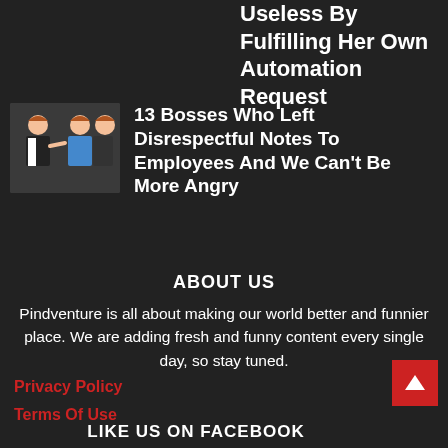Useless By Fulfilling Her Own Automation Request
[Figure (illustration): Cartoon illustration of business figures/bosses and employee]
13 Bosses Who Left Disrespectful Notes To Employees And We Can't Be More Angry
ABOUT US
Pindventure is all about making our world better and funnier place. We are adding fresh and funny content every single day, so stay tuned.
Privacy Policy
Terms Of Use
LIKE US ON FACEBOOK